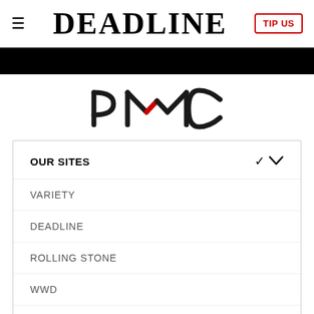≡  DEADLINE  TIP US
[Figure (logo): PMC logo with red chevron accent between P and C letters]
OUR SITES
VARIETY
DEADLINE
ROLLING STONE
WWD
HOLLYWOODLIFE
GOLD DERBY
SPY